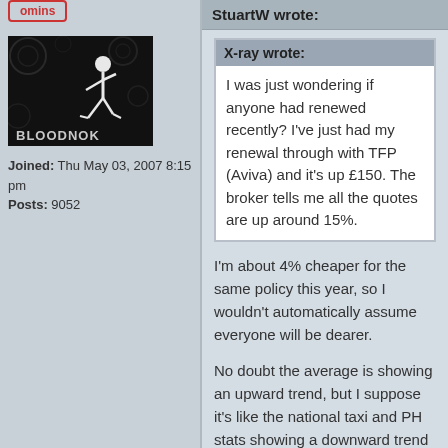omins
[Figure (photo): Dark avatar image showing a stick figure walking with text 'BLOODNOK' at the bottom]
Joined: Thu May 03, 2007 8:15 pm
Posts: 9052
StuartW wrote:
X-ray wrote:
I was just wondering if anyone had renewed recently? I've just had my renewal through with TFP (Aviva) and it's up £150. The broker tells me all the quotes are up around 15%.
I'm about 4% cheaper for the same policy this year, so I wouldn't automatically assume everyone will be dearer.
No doubt the average is showing an upward trend, but I suppose it's like the national taxi and PH stats showing a downward trend overall, but there's still local authorities reporting increased numbers.